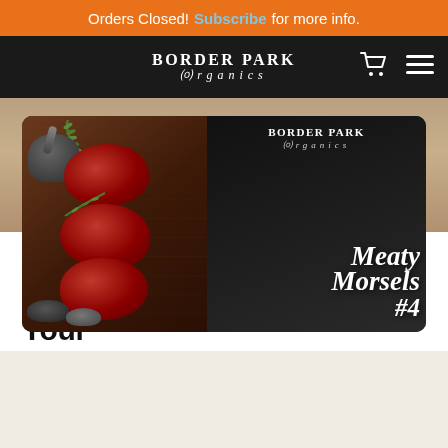Orders Closed! Subscribe for more info.
[Figure (logo): Border Park Organics logo in white text on black navigation bar with shopping cart and hamburger menu icons]
[Figure (photo): Hero image showing grass-fed raw meat steaks with rosemary sprigs and mortar and pestle on dark background. Text overlay reads: Border Park Organics, Meaty Morsels #4]
Grass-fed Meat: 3 Factors that can Positively Influence Your